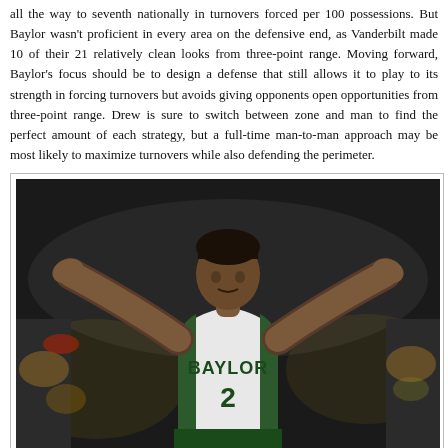all the way to seventh nationally in turnovers forced per 100 possessions. But Baylor wasn't proficient in every area on the defensive end, as Vanderbilt made 10 of their 21 relatively clean looks from three-point range. Moving forward, Baylor's focus should be to design a defense that still allows it to play to its strength in forcing turnovers but avoids giving opponents open opportunities from three-point range. Drew is sure to switch between zone and man to find the perfect amount of each strategy, but a full-time man-to-man approach may be most likely to maximize turnovers while also defending the perimeter.
[Figure (photo): Rico Gathers in Baylor #2 jersey with arms raised wide above his head, celebrating, in a basketball arena with crowd in background]
Rico Gathers' And The Bears Snuck By Vandy On Sunday. (Cooper Neill – Getty Images Sport)
Baylor has primarily been a zone team over the last seven years. Drew's current defense of choice is a 1-3-1 zone that is usually anchored by one of the country's best rebounders in Rico Gathers. After a rough start against Oregon in Eugene